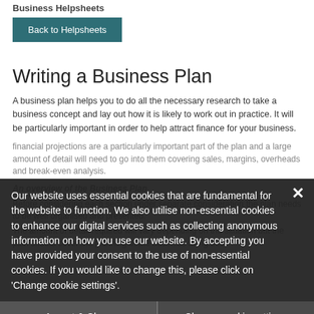Business Helpsheets
Back to Helpsheets
Writing a Business Plan
A business plan helps you to do all the necessary research to take a business concept and lay out how it is likely to work out in practice. It will be particularly important in order to help attract finance for your business.
Financial projections are a particularly important part of the plan and a large amount of detail will need to go into them covering sales, margins, overheads and break-even analysis.
An overview of the Business Plan
Before considering each section under separate consideration the plan needs to be well organised and presented.
The amount of detail required will vary depending on the situation but the plan should cover the planning of the business using best
Our website uses essential cookies that are fundamental for the website to function. We also utilise non-essential cookies to enhance our digital services such as collecting anonymous information on how you use our website. By accepting you have provided your consent to the use of non-essential cookies. If you would like to change this, please click on 'Change cookie settings'.
Accept & Close
Change cookie settings